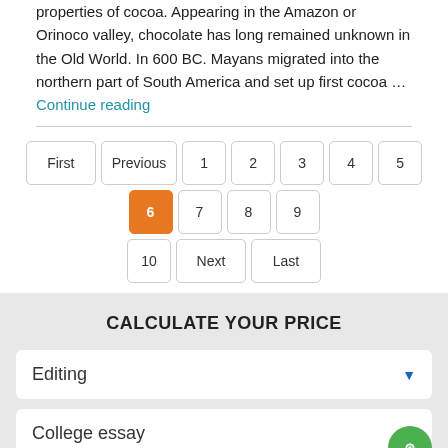properties of cocoa. Appearing in the Amazon or Orinoco valley, chocolate has long remained unknown in the Old World. In 600 BC. Mayans migrated into the northern part of South America and set up first cocoa … Continue reading
First Previous 1 2 3 4 5 6 7 8 9 10 Next Last
CALCULATE YOUR PRICE
Editing
College essay